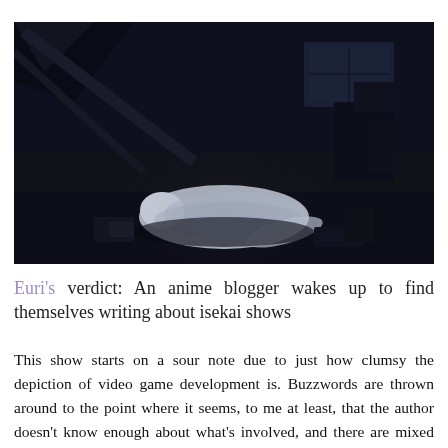[Figure (illustration): Dark anime scene showing a character lying down in a dimly lit room, seen from above. The scene is predominantly dark navy and black with a figure in white/light clothing visible in the center-lower area.]
Euri's verdict: An anime blogger wakes up to find themselves writing about isekai shows
This show starts on a sour note due to just how clumsy the depiction of video game development is. Buzzwords are thrown around to the point where it seems, to me at least, that the author doesn't know enough about what's involved, and there are mixed messages about whether this is a game developer, a test house or something else entirely. It does get